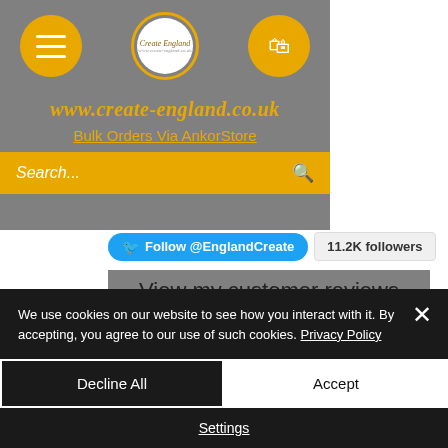[Figure (screenshot): Website header for create-england.co.uk with hamburger menu icon, circular logo, and shopping bag icon on grey background, URL in gold italic text, Bulk Orders Via AnkorStore link, and gold search bar]
Follow @EnglandCreate   11.2K followers
View my customer reviews from my Etsy site via the Review Page or head to my etsy site to see for
We use cookies on our website to see how you interact with it. By accepting, you agree to our use of such cookies. Privacy Policy
Decline All
Accept
Settings